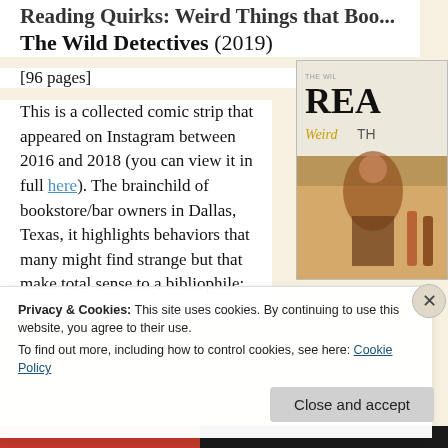Reading Quirks: Weird Things that Bo... The Wild Detectives (2019)
[96 pages]
This is a collected comic strip that appeared on Instagram between 2016 and 2018 (you can view it in full here). The brainchild of bookstore/bar owners in Dallas, Texas, it highlights behaviors that many might find strange but that make total sense to a bibliophile: buying
[Figure (illustration): Book cover showing 'Reading Quirks: Weird Things' with illustrated characters, partial view cropped on right side]
Privacy & Cookies: This site uses cookies. By continuing to use this website, you agree to their use.
To find out more, including how to control cookies, see here: Cookie Policy
Close and accept